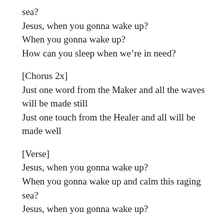sea?
Jesus, when you gonna wake up?
When you gonna wake up?
How can you sleep when we're in need?
[Chorus 2x]
Just one word from the Maker and all the waves will be made still
Just one touch from the Healer and all will be made well
[Verse]
Jesus, when you gonna wake up?
When you gonna wake up and calm this raging sea?
Jesus, when you gonna wake up?